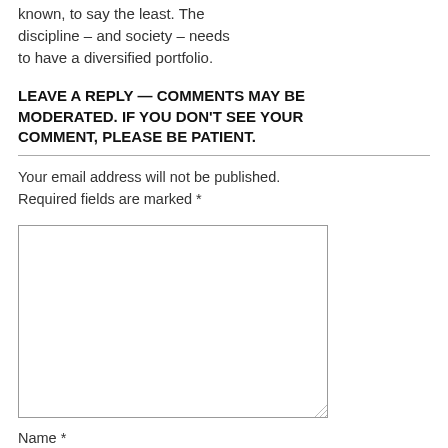known, to say the least. The discipline – and society – needs to have a diversified portfolio.
LEAVE A REPLY — COMMENTS MAY BE MODERATED. IF YOU DON'T SEE YOUR COMMENT, PLEASE BE PATIENT.
Your email address will not be published. Required fields are marked *
[Figure (other): Comment text area input box]
Name *